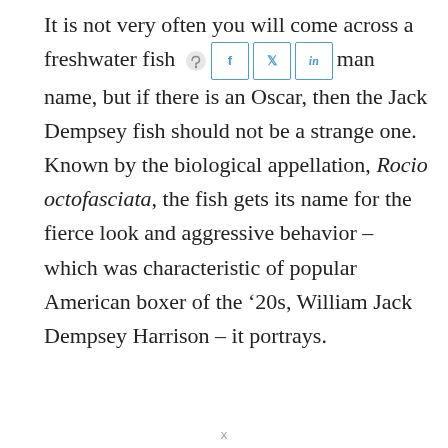It is not very often you will come across a freshwater fish [share buttons] man name, but if there is an Oscar, then the Jack Dempsey fish should not be a strange one. Known by the biological appellation, Rocio octofasciata, the fish gets its name for the fierce look and aggressive behavior – which was characteristic of popular American boxer of the '20s, William Jack Dempsey Harrison – it portrays.
x